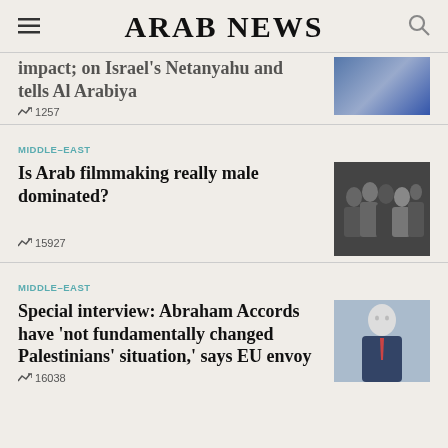ARAB NEWS
impact; on Israel's Netanyahu and tells Al Arabiya
1257
MIDDLE-EAST
Is Arab filmmaking really male dominated?
15927
MIDDLE-EAST
Special interview: Abraham Accords have 'not fundamentally changed Palestinians' situation,' says EU envoy
16038